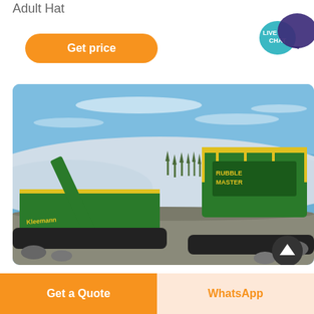Adult Hat
Get price
[Figure (screenshot): Live chat speech bubble icon with teal circle labeled LIVE CHAT and dark purple chat bubble icon]
[Figure (photo): Green heavy machinery / rock crushing equipment operating in a snowy quarry with blue sky and snow-covered hills in background]
Get a Quote
WhatsApp